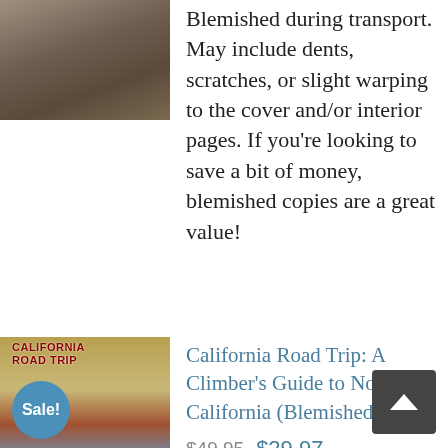[Figure (photo): Book cover thumbnail showing mountain/climbing scene, top of page]
Blemished during transport. May include dents, scratches, or slight warping to the cover and/or interior pages. If you're looking to save a bit of money, blemished copies are a great value!
[Figure (photo): Book cover for 'California Road Trip: A Climber's Guide to Northern California' showing a climber on a rock face, with a teal 'Sale!' badge]
California Road Trip: A Climber's Guide to Northern California (Blemished)
$49.95  $29.97